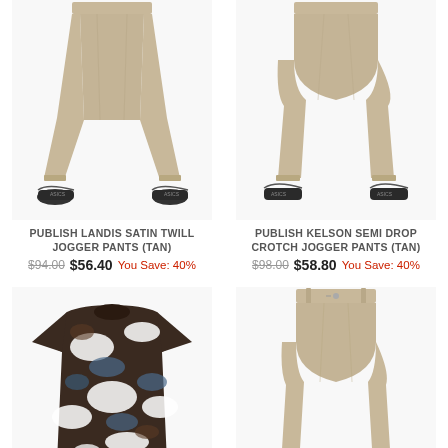[Figure (photo): Lower half of mannequin wearing tan Publish Landis Satin Twill Jogger Pants with black sneakers]
PUBLISH LANDIS SATIN TWILL JOGGER PANTS (TAN)
$94.00  $56.40  You Save: 40%
[Figure (photo): Lower half of mannequin wearing tan Publish Kelson Semi Drop Crotch Jogger Pants with black sneakers]
PUBLISH KELSON SEMI DROP CROTCH JOGGER PANTS (TAN)
$98.00  $58.80  You Save: 40%
[Figure (photo): Camo floral print short sleeve t-shirt laid flat]
[Figure (photo): Lower portion of tan/khaki drop-crotch jogger pants on mannequin]